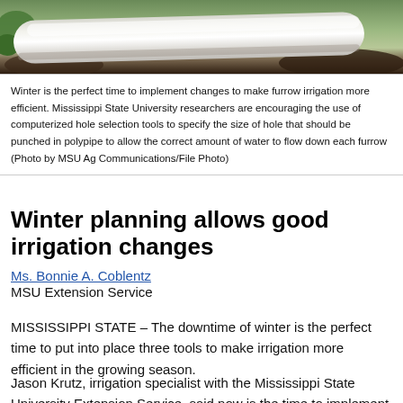[Figure (photo): Close-up photo of white polypipe on soil with green plants in background]
Winter is the perfect time to implement changes to make furrow irrigation more efficient. Mississippi State University researchers are encouraging the use of computerized hole selection tools to specify the size of hole that should be punched in polypipe to allow the correct amount of water to flow down each furrow (Photo by MSU Ag Communications/File Photo)
Winter planning allows good irrigation changes
Ms. Bonnie A. Coblentz
MSU Extension Service
MISSISSIPPI STATE – The downtime of winter is the perfect time to put into place three tools to make irrigation more efficient in the growing season.
Jason Krutz, irrigation specialist with the Mississippi State University Extension Service, said now is the time to implement a computerized hole selection tool and install